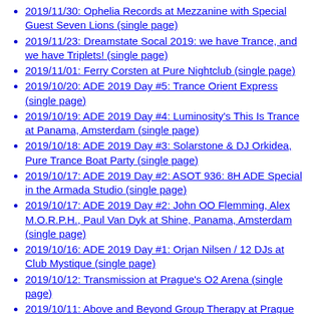2019/11/30: Ophelia Records at Mezzanine with Special Guest Seven Lions (single page)
2019/11/23: Dreamstate Socal 2019: we have Trance, and we have Triplets! (single page)
2019/11/01: Ferry Corsten at Pure Nightclub (single page)
2019/10/20: ADE 2019 Day #5: Trance Orient Express (single page)
2019/10/19: ADE 2019 Day #4: Luminosity's This Is Trance at Panama, Amsterdam (single page)
2019/10/18: ADE 2019 Day #3: Solarstone & DJ Orkidea, Pure Trance Boat Party (single page)
2019/10/17: ADE 2019 Day #2: ASOT 936: 8H ADE Special in the Armada Studio (single page)
2019/10/17: ADE 2019 Day #2: John OO Flemming, Alex M.O.R.P.H., Paul Van Dyk at Shine, Panama, Amsterdam (single page)
2019/10/16: ADE 2019 Day #1: Orjan Nilsen / 12 DJs at Club Mystique (single page)
2019/10/12: Transmission at Prague's O2 Arena (single page)
2019/10/11: Above and Beyond Group Therapy at Prague O2 Arena (AGBT 350) (single page)
2019/10/10: KBGT Anjunafamily Preparty at Club Mecca, Prague (single page)
2019/10/05: Triode and DJ Melodie at Endup SF (single